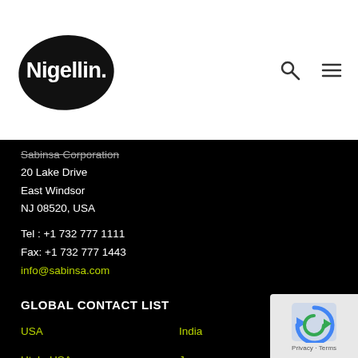[Figure (logo): Nigellin logo — white text on black organic blob shape]
Sabinsa Corporation
20 Lake Drive
East Windsor
NJ 08520, USA
Tel : +1 732 777 1111
Fax: +1 732 777 1443
info@sabinsa.com
GLOBAL CONTACT LIST
USA
India
Utah, USA
Japan
Australia
Poland
Brasil
Korea